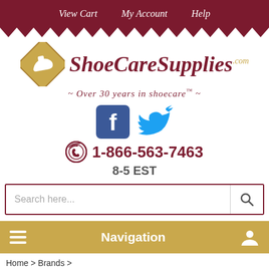View Cart  My Account  Help
[Figure (logo): ShoeCareSupplies.com logo with gold diamond containing shoe icon and dark red italic script text]
~ Over 30 years in shoecare™ ~
[Figure (illustration): Facebook and Twitter social media icons]
1-866-563-7463
8-5 EST
Search here...
Navigation
Home > Brands >